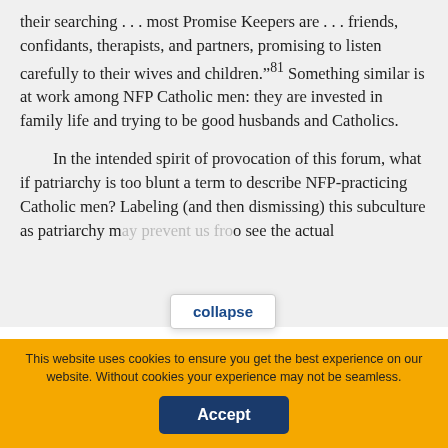their searching . . . most Promise Keepers are . . . friends, confidants, therapists, and partners, promising to listen carefully to their wives and children."81 Something similar is at work among NFP Catholic men: they are invested in family life and trying to be good husbands and Catholics.
In the intended spirit of provocation of this forum, what if patriarchy is too blunt a term to describe NFP-practicing Catholic men? Labeling (and then dismissing) this subculture as patriarchy m[ay prevent us from being able] to see the actual
You are not currently authenticated. If you would like to authenticate using a different subscribed institution or
This website uses cookies to ensure you get the best experience on our website. Without cookies your experience may not be seamless.